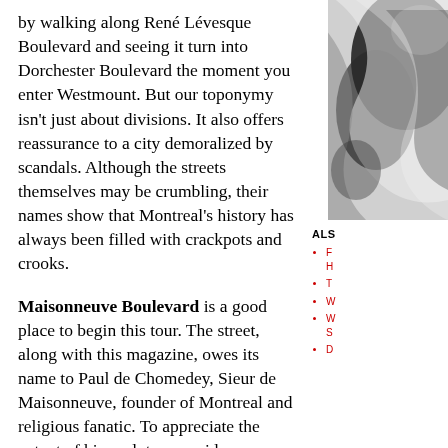by walking along René Lévesque Boulevard and seeing it turn into Dorchester Boulevard the moment you enter Westmount. But our toponymy isn't just about divisions. It also offers reassurance to a city demoralized by scandals. Although the streets themselves may be crumbling, their names show that Montreal's history has always been filled with crackpots and crooks.
[Figure (photo): Black and white photo, partially visible on right side of page, showing a decorative or artistic pattern]
ALS
F... H...
T...
W...
W... S...
D...
Maisonneuve Boulevard is a good place to begin this tour. The street, along with this magazine, owes its name to Paul de Chomedey, Sieur de Maisonneuve, founder of Montreal and religious fanatic. To appreciate the extent of his zealotry, consider one episode that's typical of his leadership.
Maisonneuve and his small band of colonists first arrived her